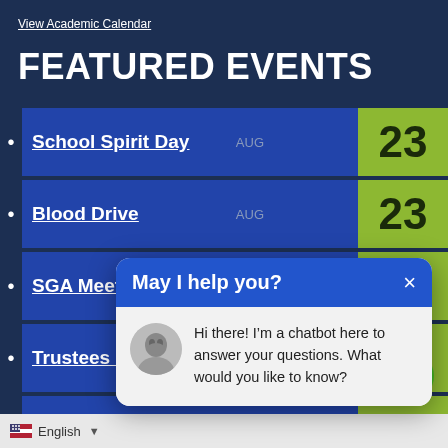View Academic Calendar
FEATURED EVENTS
School Spirit Day AUG 23
Blood Drive AUG 23
SGA Meet & Greet AUG 23
Trustees Meeting #1 AUG 23
Voll... AUG 23
Full Ev...
[Figure (screenshot): Chatbot popup overlay with header 'May I help you?' and message 'Hi there! I'm a chatbot here to answer your questions. What would you like to know?']
English